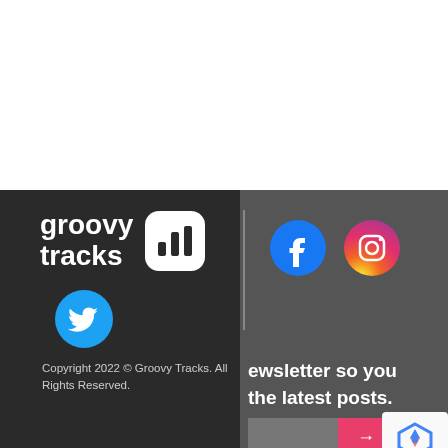[Figure (logo): Groovy Tracks logo with bar chart icon and Twitter bird circle]
[Figure (illustration): Facebook circular icon (blue) and Instagram circular icon (gradient pink-orange)]
Copyright 2022 © Groovy Tracks. All Rights Reserved.
ewsletter so you the latest posts.
[Figure (illustration): Email input field with pink arrow submit button and reCAPTCHA widget]